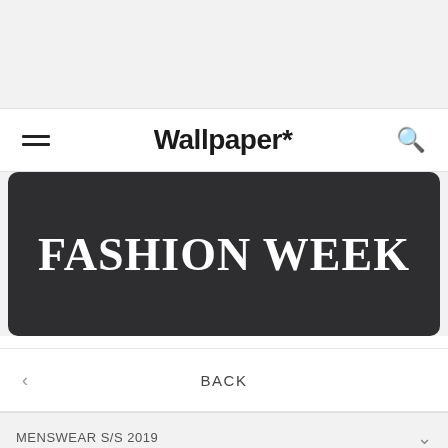Wallpaper*
FASHION WEEK
BACK
MENSWEAR S/S 2019